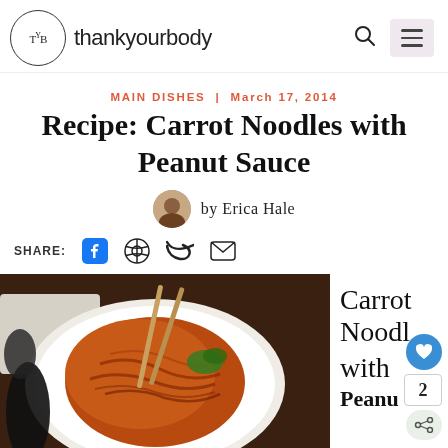thankyourbody
MAIN DISHES | March 17, 2014
Recipe: Carrot Noodles with Peanut Sauce
by Erica Hale
SHARE:
[Figure (photo): A white plate of carrot noodles with peanut sauce and chopsticks, with text overlay reading 'Carrot Noodles with Peanu' on the right side]